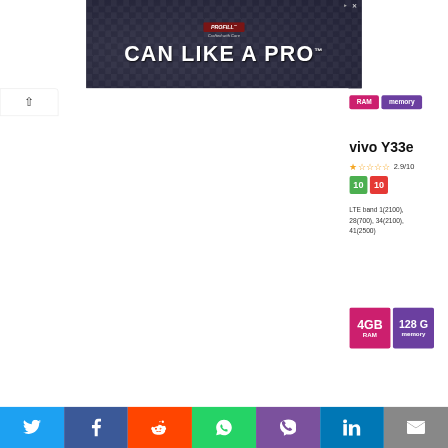[Figure (screenshot): Advertisement banner: PROFILL CAN LIKE A PRO with dark background showing metal cans]
RAM  memory
vivo Y33e
2.9/10
10  10
LTE band 1(2100), 28(700), 34(2100), 41(2500)
4GB RAM  128G memory
[Figure (screenshot): Social sharing bar with Twitter, Facebook, Reddit, WhatsApp, Viber, LinkedIn, Email icons]